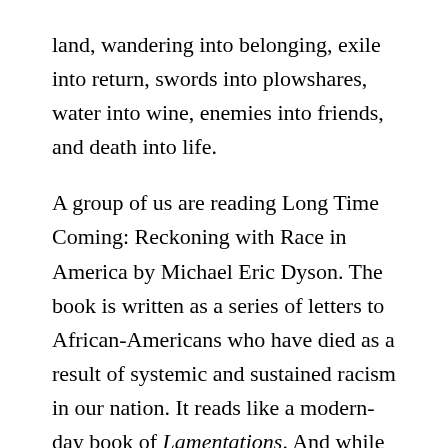land, wandering into belonging, exile into return, swords into plowshares, water into wine, enemies into friends, and death into life.
A group of us are reading Long Time Coming: Reckoning with Race in America by Michael Eric Dyson. The book is written as a series of letters to African-Americans who have died as a result of systemic and sustained racism in our nation. It reads like a modern-day book of Lamentations. And while Dyson intentionally makes the book difficult for both black and white communities to read, his goal is to inspire restorative action. He holds up people with dark skin who, over the course of 400 years, have suffered the fiery serpents of injustice, people who have been